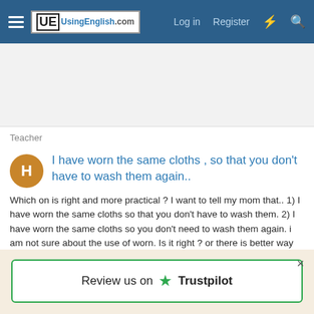UsingEnglish.com — Log in | Register
Teacher
I have worn the same cloths , so that you don't have to wash them again..
Which on is right and more practical ? I want to tell my mom that.. 1) I have worn the same cloths so that you don't have to wash them. 2) I have worn the same cloths so you don't need to wash them again. i am not sure about the use of worn. Is it right ? or there is better way to...
hitesh70 · Thread · Nov 28, 2012 · Replies: 10 · Forum: Ask a Teacher
Review us on ★ Trustpilot